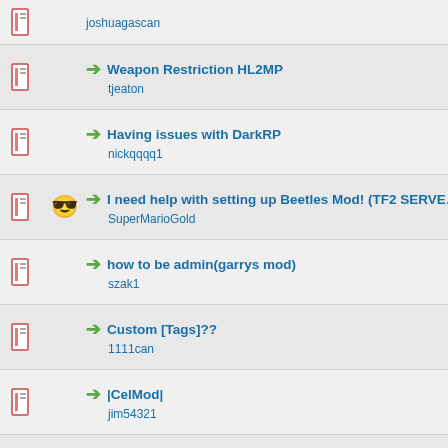joshuagascan
Weapon Restriction HL2MP
tjeaton
Having issues with DarkRP
nickqqqq1
I need help with setting up Beetles Mod! (TF2 SERVER)
SuperMarioGold
how to be admin(garrys mod)
szak1
Custom [Tags]??
1111can
|CelMod|
jim54321
1146 -Table [Sourcemod Plugin][Help]
war
TTT
Ghassan shawaf
CALLING ALL DARKRP ADMINS.
The Mr Kitty